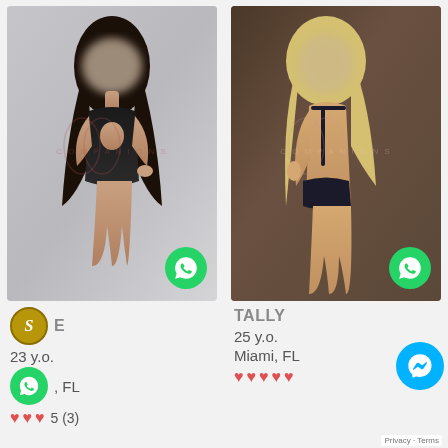[Figure (photo): Left card: person in black swimsuit, face blurred, with WhatsApp button overlay and watermark]
E
23 y.o.
FL
5 (3)
[Figure (photo): Right card: TALLY, person in dark bikini, face blurred, back view, with WhatsApp button overlay and watermark]
TALLY
25 y.o.
Miami, FL
Privacy · Terms